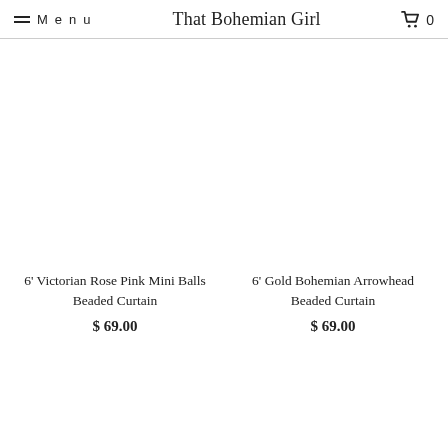Menu  That Bohemian Girl  0
6' Gold Bohemian Arrowhead Beaded Curtain
$ 69.00
6' Victorian Rose Pink Mini Balls Beaded Curtain
$ 69.00